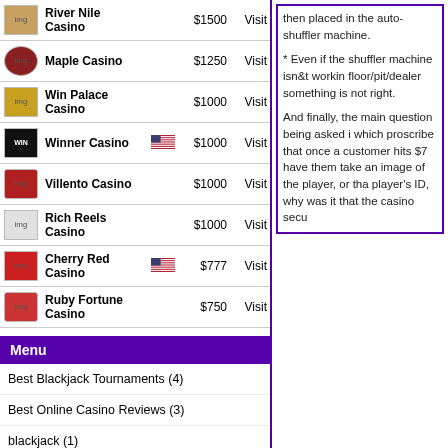| Logo | Casino | Flag | Bonus | Action |
| --- | --- | --- | --- | --- |
|  | River Nile Casino |  | $1500 | Visit |
|  | Maple Casino |  | $1250 | Visit |
|  | Win Palace Casino |  | $1000 | Visit |
|  | Winner Casino | flag | $1000 | Visit |
|  | Villento Casino |  | $1000 | Visit |
|  | Rich Reels Casino |  | $1000 | Visit |
|  | Cherry Red Casino | flag | $777 | Visit |
|  | Ruby Fortune Casino |  | $750 | Visit |
Menu
Best Blackjack Tournaments (4)
Best Online Casino Reviews (3)
blackjack (1)
Blackjack Tournament Styles (4)
Blackjack Tournaments (2)
Online Blackjack (50)
then placed in the auto-shuffler machine.
* Even if the shuffler machine isn&t workin floor/pit/dealer something is not right.
And finally, the main question being asked i which proscribe that once a customer hits $7 have them take an image of the player, or tha player's ID, why was it that the casino secu
Answers to the question are still expected, b file lawsuits against the casino and seek just